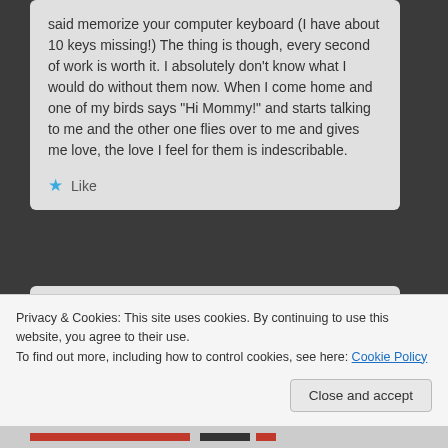said memorize your computer keyboard (I have about 10 keys missing!) The thing is though, every second of work is worth it. I absolutely don't know what I would do without them now. When I come home and one of my birds says "Hi Mommy!" and starts talking to me and the other one flies over to me and gives me love, the love I feel for them is indescribable.
★ Like
Barb
January 22, 2015 at 11:28 am
✕
Privacy & Cookies: This site uses cookies. By continuing to use this website, you agree to their use.
To find out more, including how to control cookies, see here: Cookie Policy
Close and accept